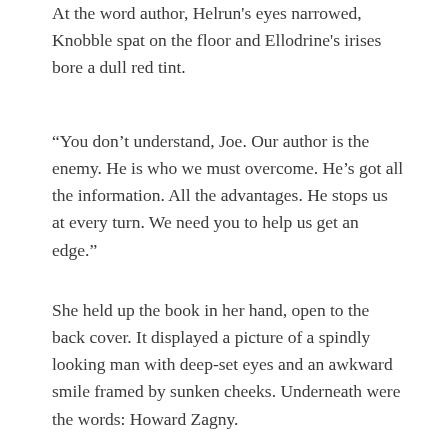At the word author, Helrun's eyes narrowed, Knobble spat on the floor and Ellodrine's irises bore a dull red tint.
“You don’t understand, Joe. Our author is the enemy. He is who we must overcome. He’s got all the information. All the advantages. He stops us at every turn. We need you to help us get an edge.”
She held up the book in her hand, open to the back cover. It displayed a picture of a spindly looking man with deep-set eyes and an awkward smile framed by sunken cheeks. Underneath were the words: Howard Zagny.